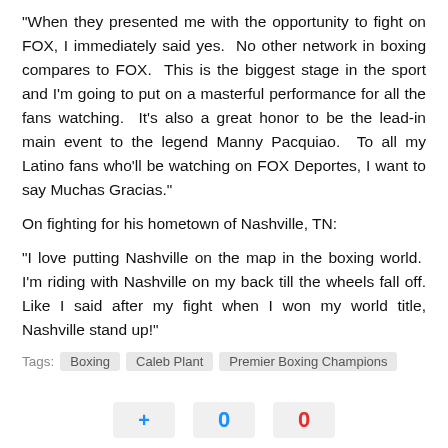“When they presented me with the opportunity to fight on FOX, I immediately said yes.  No other network in boxing compares to FOX.  This is the biggest stage in the sport and I’m going to put on a masterful performance for all the fans watching.  It’s also a great honor to be the lead-in main event to the legend Manny Pacquiao.  To all my Latino fans who'll be watching on FOX Deportes, I want to say Muchas Gracias.”
On fighting for his hometown of Nashville, TN:
“I love putting Nashville on the map in the boxing world.  I’m riding with Nashville on my back till the wheels fall off. Like I said after my fight when I won my world title, Nashville stand up!”
Tags: Boxing  Caleb Plant  Premier Boxing Champions